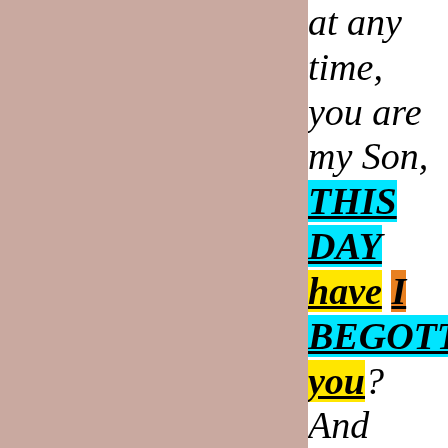at any time, you are my Son, THIS DAY have I BEGOTTEN you? And again, I WILL